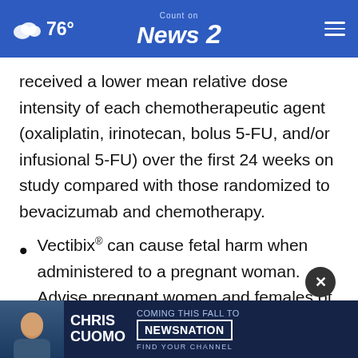76° | Count on News 2 NBC
received a lower mean relative dose intensity of each chemotherapeutic agent (oxaliplatin, irinotecan, bolus 5-FU, and/or infusional 5-FU) over the first 24 weeks on study compared with those randomized to bevacizumab and chemotherapy.
Vectibix® can cause fetal harm when administered to a pregnant woman. Advise pregnant women and females of [potential] risk to a fetus. Advise females of reproductive
[Figure (screenshot): Advertisement banner for Chris Cuomo Coming This Fall to NewsNation - Find Your Channel]